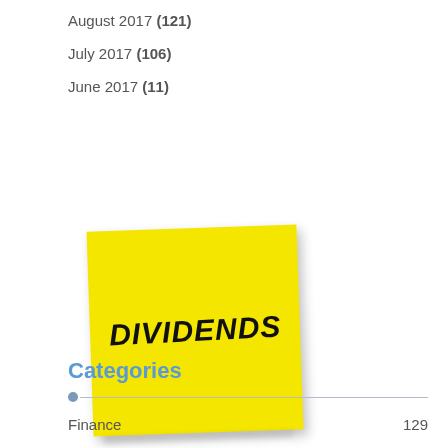August 2017 (121)
July 2017 (106)
June 2017 (11)
[Figure (illustration): A yellow sticky note with the word DIVIDENDS written in bold black handwritten-style letters, slightly rotated, with a drop shadow.]
Categories
Finance 129